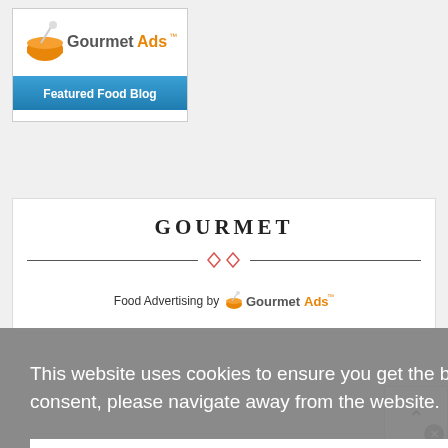[Figure (logo): GourmetAds Featured Food Blog badge with orange bowl icon and blue banner]
GOURMET
Food Advertising by GourmetAds
This website uses cookies to ensure you get the best experience on our website. If you do not consent, please navigate away from the website.  Learn more
I get it & consent to cookies